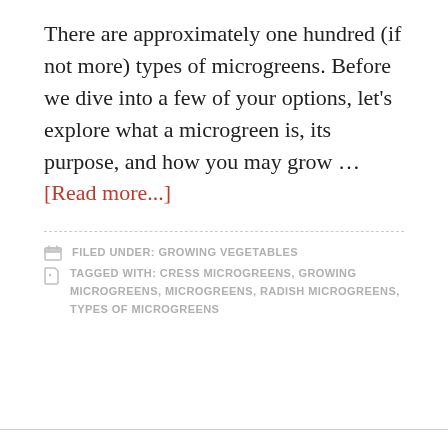There are approximately one hundred (if not more) types of microgreens. Before we dive into a few of your options, let's explore what a microgreen is, its purpose, and how you may grow … [Read more...]
FILED UNDER: GROWING VEGETABLES
TAGGED WITH: CRESS MICROGREENS, GROWING MICROGREENS, MICROGREENS, RADISH MICROGREENS, TYPES OF MICROGREENS